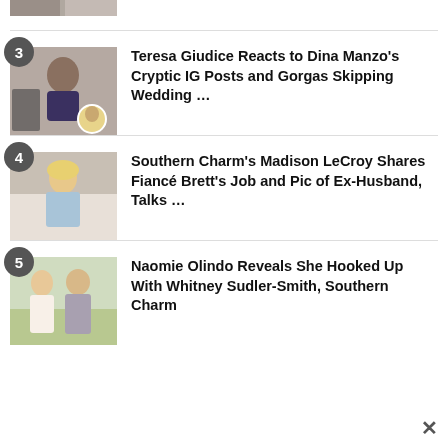[Figure (photo): Top strip showing partial image of people]
3 Teresa Giudice Reacts to Dina Manzo's Cryptic IG Posts and Gorgas Skipping Wedding ...
4 Southern Charm's Madison LeCroy Shares Fiancé Brett's Job and Pic of Ex-Husband, Talks ...
5 Naomie Olindo Reveals She Hooked Up With Whitney Sudler-Smith, Southern Charm